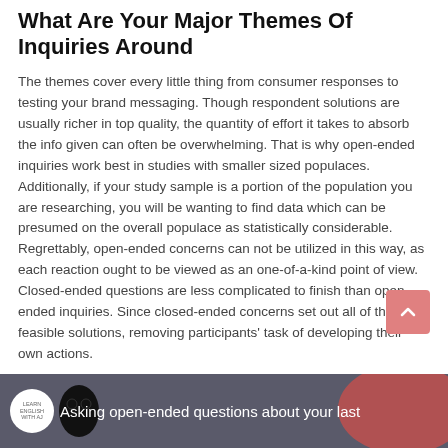What Are Your Major Themes Of Inquiries Around
The themes cover every little thing from consumer responses to testing your brand messaging. Though respondent solutions are usually richer in top quality, the quantity of effort it takes to absorb the info given can often be overwhelming. That is why open-ended inquiries work best in studies with smaller sized populaces. Additionally, if your study sample is a portion of the population you are researching, you will be wanting to find data which can be presumed on the overall populace as statistically considerable. Regrettably, open-ended concerns can not be utilized in this way, as each reaction ought to be viewed as an one-of-a-kind point of view. Closed-ended questions are less complicated to finish than open-ended inquiries. Since closed-ended concerns set out all of the feasible solutions, removing participants' task of developing their own actions.
[Figure (screenshot): Video thumbnail strip showing a dark background with a circular logo for 'Learn English With AJ' on the left, a decorative black graphic element, a red/pink oval blob on the right, and white overlay text reading 'Asking open-ended questions about your last']